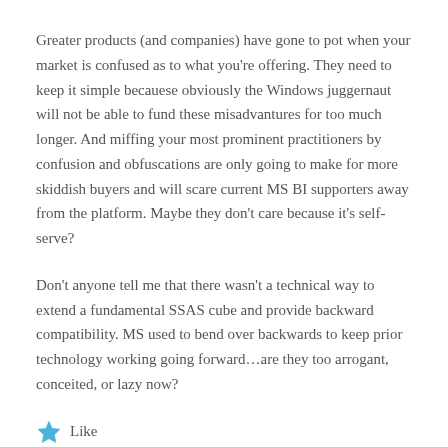Greater products (and companies) have gone to pot when your market is confused as to what you're offering. They need to keep it simple becauese obviously the Windows juggernaut will not be able to fund these misadvantures for too much longer. And miffing your most prominent practitioners by confusion and obfuscations are only going to make for more skiddish buyers and will scare current MS BI supporters away from the platform. Maybe they don't care because it's self-serve?
Don't anyone tell me that there wasn't a technical way to extend a fundamental SSAS cube and provide backward compatibility. MS used to bend over backwards to keep prior technology working going forward…are they too arrogant, conceited, or lazy now?
Like